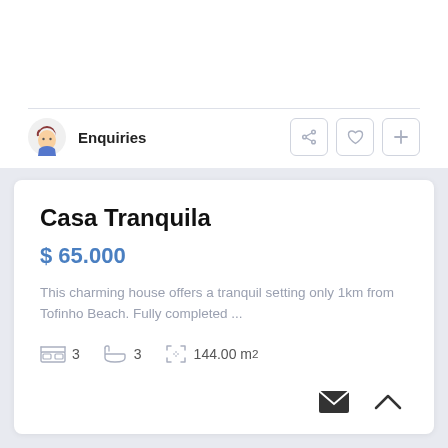Enquiries
Casa Tranquila
$ 65.000
This charming house offers a tranquil setting only 1km from Tofinho Beach. Fully completed ...
3  3  144.00 m²